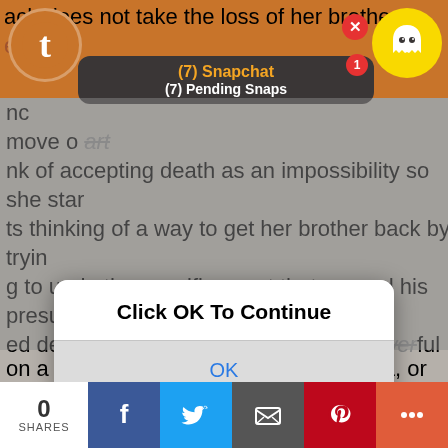[Figure (screenshot): Screenshot of a webpage with a Snapchat notification overlay bar showing '(7) Snapchat' and '(7) Pending Snaps' in a dark rounded rectangle, Snapchat ghost icon with yellow circle and notification badge, and a close X button. Background shows an orange top bar and gray article content area.]
ach does not take the loss of her brother every
nc
move o art
nk of accepting death as an impossibility so she starts thinking of a way to get her brother back by trying to undo the specific event that caused his presumed death via getting her ridiculously powerful pet psychic alien thing to rip apart reality she also gets a more dramatic costume change
[Figure (screenshot): iOS-style modal dialog with white top section reading 'Click OK To Continue' in bold, and a gray bottom section with blue 'OK' text, overlaid on the article content. Pixel art character sprites visible behind/below the modal.]
on a lighter note theres also andromeda, or andy for short. she is a paranormal researcher who goes out i nvestigating ufo sightings and has a web series she
[Figure (screenshot): Bottom social share bar with share count '0 SHARES', Facebook (blue), Twitter (blue), Email (gray), Pinterest (red), and More (orange-red) buttons.]